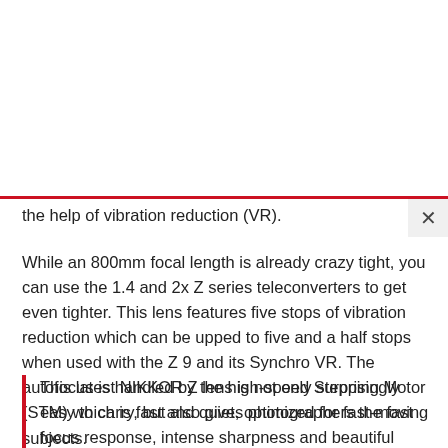the help of vibration reduction (VR).
While an 800mm focal length is already crazy tight, you can use the 1.4 and 2x Z series teleconverters to get even tighter. This lens features five stops of vibration reduction which can be upped to five and a half stops when used with the Z 9 and its Synchro VR. The autofocus is handled by the high-speed Stepping Motor (STM) which is fast and quiet, optimized for fast-moving subjects.
This latest NIKKOR Z lens is not only surprisingly easy to carry, but also gives photographers the fast focus response, intense sharpness and beautiful color reproduction they need to create amazing images from extreme distances.